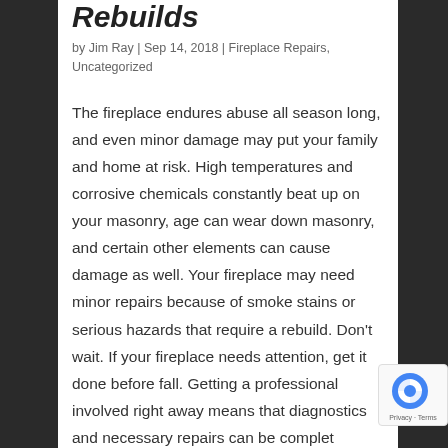Rebuilds
by Jim Ray | Sep 14, 2018 | Fireplace Repairs, Uncategorized
The fireplace endures abuse all season long, and even minor damage may put your family and home at risk. High temperatures and corrosive chemicals constantly beat up on your masonry, age can wear down masonry, and certain other elements can cause damage as well. Your fireplace may need minor repairs because of smoke stains or serious hazards that require a rebuild. Don't wait. If your fireplace needs attention, get it done before fall. Getting a professional involved right away means that diagnostics and necessary repairs can be completed before the first cool night of the burn season.